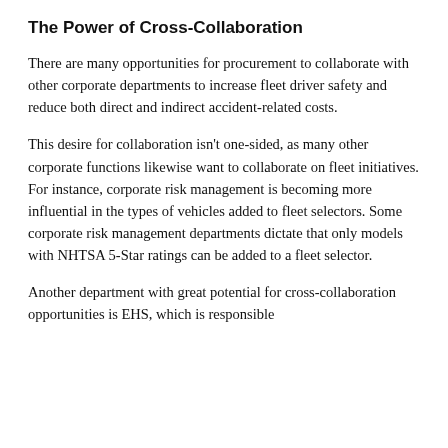The Power of Cross-Collaboration
There are many opportunities for procurement to collaborate with other corporate departments to increase fleet driver safety and reduce both direct and indirect accident-related costs.
This desire for collaboration isn't one-sided, as many other corporate functions likewise want to collaborate on fleet initiatives. For instance, corporate risk management is becoming more influential in the types of vehicles added to fleet selectors. Some corporate risk management departments dictate that only models with NHTSA 5-Star ratings can be added to a fleet selector.
Another department with great potential for cross-collaboration opportunities is EHS, which is responsible